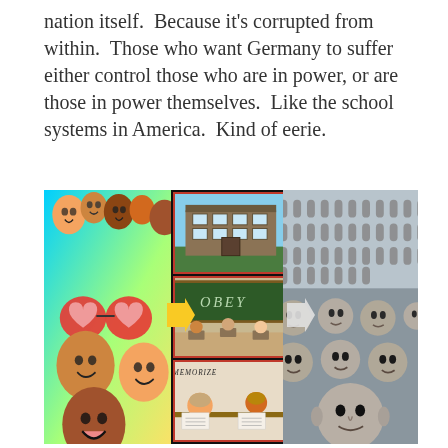nation itself.  Because it's corrupted from within.  Those who want Germany to suffer either control those who are in power, or are those in power themselves.  Like the school systems in America.  Kind of eerie.
[Figure (infographic): Infographic showing transformation from diverse happy children (left panel) through school system (center panel with images of school building, classroom with 'OBEY' on chalkboard, and students 'MEMORIZE') to identical clone-like figures (right panel). Arrows point from left to center and center to right, illustrating conformity through schooling.]